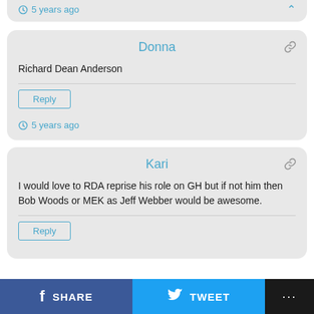5 years ago
Donna
Richard Dean Anderson
Reply
5 years ago
Kari
I would love to RDA reprise his role on GH but if not him then Bob Woods or MEK as Jeff Webber would be awesome.
Reply
SHARE
TWEET